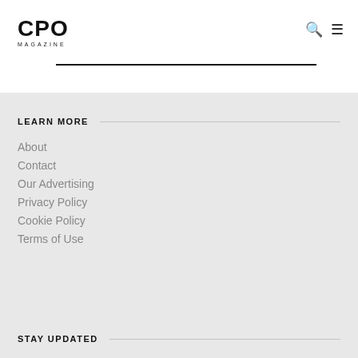CPO MAGAZINE
LEARN MORE
About
Contact
Our Advertising
Privacy Policy
Cookie Policy
Terms of Use
STAY UPDATED